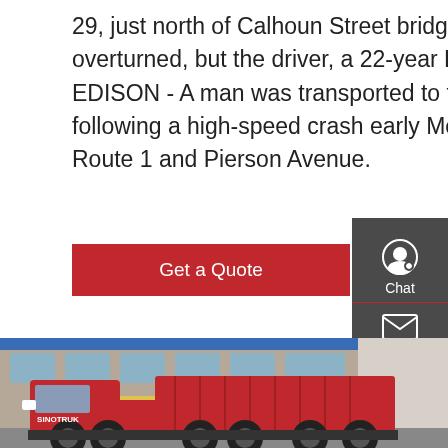29, just north of Calhoun Street bridge. The dump truck overturned, but the driver, a 22-year Bridgewater Courier News EDISON - A man was transported to the hospital with a broken leg following a high-speed crash early Monday at the intersection of Route 1 and Pierson Avenue.
[Figure (other): Red button/widget labeled 'Get a Quote']
[Figure (photo): Photo of a large red HOWO dump truck parked in front of a commercial building with Chinese signage]